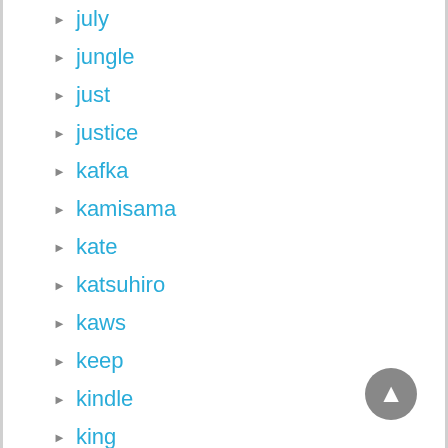july
jungle
just
justice
kafka
kamisama
kate
katsuhiro
kaws
keep
kindle
king
kingdom